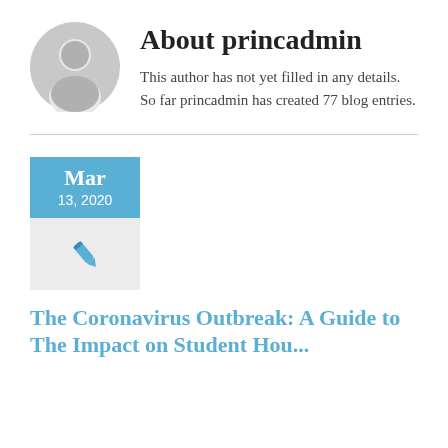[Figure (illustration): Gray circular avatar icon with silhouette of a person]
About princadmin
This author has not yet filled in any details.
So far princadmin has created 77 blog entries.
[Figure (infographic): Blue date box showing Mar 13, 2020, with a light gray icon box below containing a blue pen/pencil icon]
The Coronavirus Outbreak: A Guide to The Impact on Student Housing